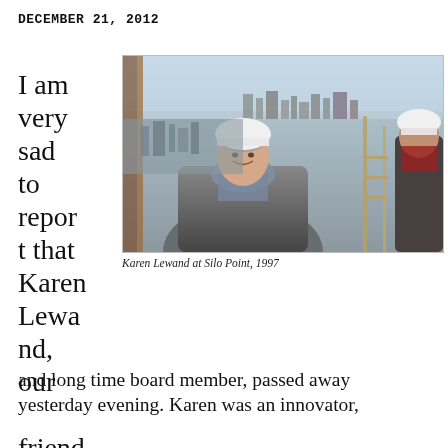DECEMBER 21, 2012
I am very sad to report that Karen Lewand, our friend and long time board member, passed away yesterday evening. Karen was an innovator,
[Figure (photo): Photo of Karen Lewand wearing a white hard hat and grey jacket with scarf, smiling on a construction site or observation deck with a city skyline (Baltimore) visible behind her. Another person in a white hard hat is visible to the right.]
Karen Lewand at Silo Point, 1997